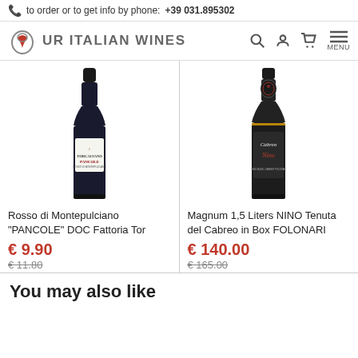to order or to get info by phone: +39 031.895302
[Figure (logo): UR Italian Wines logo with wine glass icon and navigation icons (search, user, cart, menu)]
[Figure (photo): Bottle of Rosso di Montepulciano PANCOLE wine by Fattoria Tor Calvano]
[Figure (photo): Bottle of Cabreo Nino Magnum 1.5 Liters Tenuta del Cabreo in Box FOLONARI]
Rosso di Montepulciano "PANCOLE" DOC Fattoria Tor
€ 9.90
€ 11.80
Magnum 1,5 Liters NINO Tenuta del Cabreo in Box FOLONARI
€ 140.00
€ 165.00
You may also like